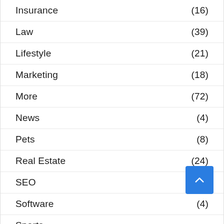Insurance (16)
Law (39)
Lifestyle (21)
Marketing (18)
More (72)
News (4)
Pets (8)
Real Estate (24)
SEO (9)
Software (4)
Sports
Tech (111)
Trading (25)
Travel (36)